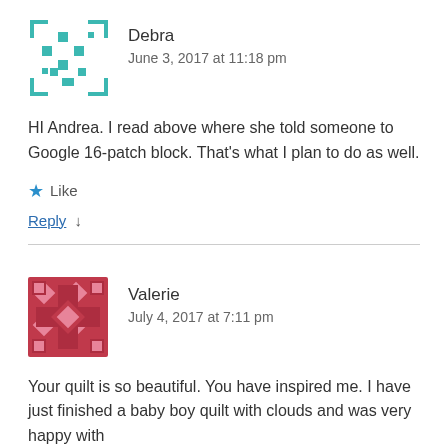[Figure (illustration): Teal/cyan pixel avatar for user Debra]
Debra
June 3, 2017 at 11:18 pm
HI Andrea. I read above where she told someone to Google 16-patch block. That's what I plan to do as well.
★ Like
Reply ↓
[Figure (illustration): Pink/red quilt-pattern avatar for user Valerie]
Valerie
July 4, 2017 at 7:11 pm
Your quilt is so beautiful. You have inspired me. I have just finished a baby boy quilt with clouds and was very happy with